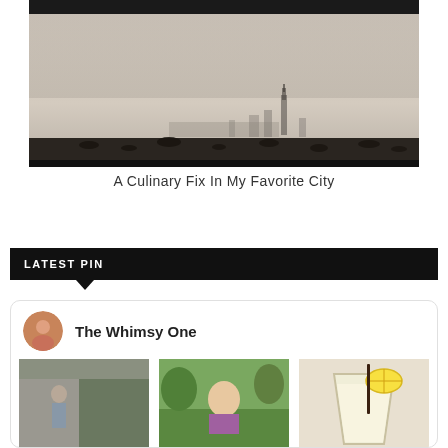[Figure (photo): A hazy cityscape photo of New York City skyline with the Empire State Building visible in the background, sepia/grey toned, birds in foreground]
A Culinary Fix In My Favorite City
LATEST PIN
[Figure (infographic): Pinterest widget showing The Whimsy One profile with avatar and three thumbnail photos: a woman outdoors, a child making a face in a park, and a drink with lemon]